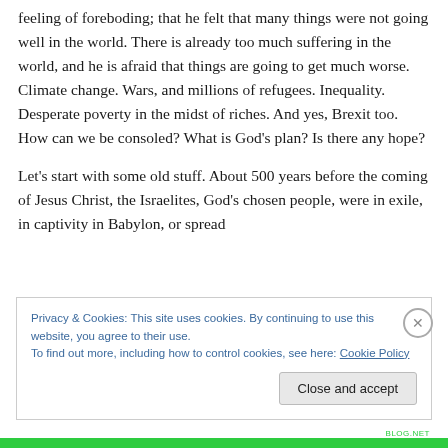feeling of foreboding; that he felt that many things were not going well in the world. There is already too much suffering in the world, and he is afraid that things are going to get much worse. Climate change. Wars, and millions of refugees. Inequality. Desperate poverty in the midst of riches. And yes, Brexit too. How can we be consoled? What is God’s plan? Is there any hope?
Let’s start with some old stuff. About 500 years before the coming of Jesus Christ, the Israelites, God’s chosen people, were in exile, in captivity in Babylon, or spread
Privacy & Cookies: This site uses cookies. By continuing to use this website, you agree to their use.
To find out more, including how to control cookies, see here: Cookie Policy